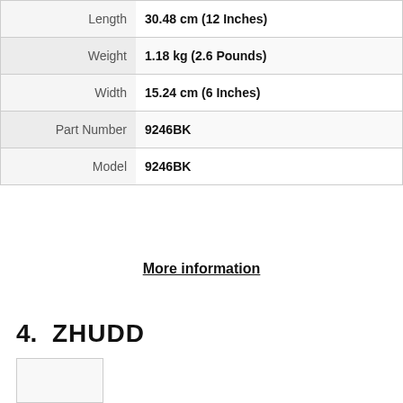| Attribute | Value |
| --- | --- |
| Length | 30.48 cm (12 Inches) |
| Weight | 1.18 kg (2.6 Pounds) |
| Width | 15.24 cm (6 Inches) |
| Part Number | 9246BK |
| Model | 9246BK |
More information
4. ZHUDD
As an Amazon Associate I earn from qualifying purchases. This website uses the only necessary cookies to ensure you get the best experience on our website. More information